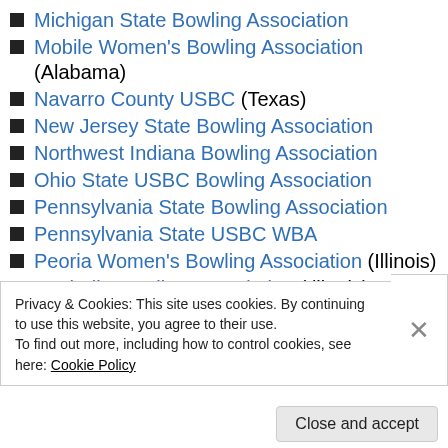Michigan State Bowling Association
Mobile Women's Bowling Association (Alabama)
Navarro County USBC (Texas)
New Jersey State Bowling Association
Northwest Indiana Bowling Association
Ohio State USBC Bowling Association
Pennsylvania State Bowling Association
Pennsylvania State USBC WBA
Peoria Women's Bowling Association (Illinois)
Rochelle Bowling Association (Illinois)
Senior All Star Bowling Association (Texas)
Privacy & Cookies: This site uses cookies. By continuing to use this website, you agree to their use.
To find out more, including how to control cookies, see here: Cookie Policy
Close and accept